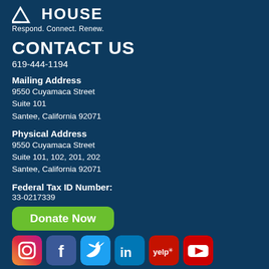[Figure (logo): House logo with triangle/roof icon and text 'HOUSE']
Respond. Connect. Renew.
CONTACT US
619-444-1194
Mailing Address
9550 Cuyamaca Street
Suite 101
Santee, California 92071
Physical Address
9550 Cuyamaca Street
Suite 101, 102, 201, 202
Santee, California 92071
Federal Tax ID Number:
33-0217339
[Figure (other): Green 'Donate Now' button]
[Figure (other): Social media icons: Instagram, Facebook, Twitter, LinkedIn, Yelp, YouTube]